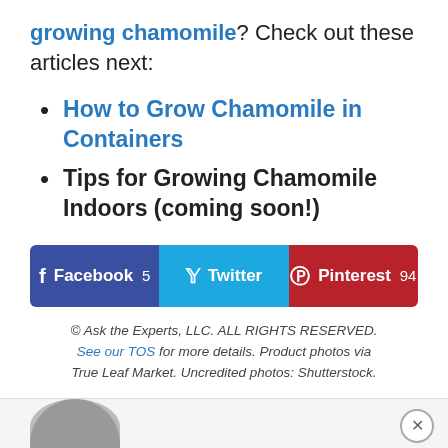growing chamomile? Check out these articles next:
How to Grow Chamomile in Containers
Tips for Growing Chamomile Indoors (coming soon!)
[Figure (other): Social share buttons: Facebook 5, Twitter, Pinterest 94]
© Ask the Experts, LLC. ALL RIGHTS RESERVED. See our TOS for more details. Product photos via True Leaf Market. Uncredited photos: Shutterstock.